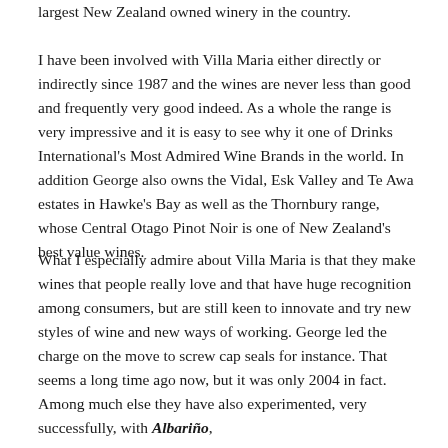largest New Zealand owned winery in the country.
I have been involved with Villa Maria either directly or indirectly since 1987 and the wines are never less than good and frequently very good indeed. As a whole the range is very impressive and it is easy to see why it one of Drinks International's Most Admired Wine Brands in the world. In addition George also owns the Vidal, Esk Valley and Te Awa estates in Hawke's Bay as well as the Thornbury range, whose Central Otago Pinot Noir is one of New Zealand's best value wines.
What I especially admire about Villa Maria is that they make wines that people really love and that have huge recognition among consumers, but are still keen to innovate and try new styles of wine and new ways of working. George led the charge on the move to screw cap seals for instance. That seems a long time ago now, but it was only 2004 in fact. Among much else they have also experimented, very successfully, with Albariño,